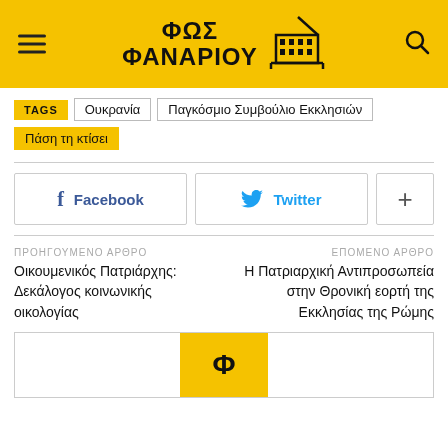ΦΩΣ ΦΑΝΑΡΙΟΥ
TAGS | Ουκρανία | Παγκόσμιο Συμβούλιο Εκκλησιών
Πάση τη κτίσει
Facebook  Twitter  +
ΠΡΟΗΓΟΥΜΕΝΟ ΑΡΘΡΟ
Οικουμενικός Πατριάρχης: Δεκάλογος κοινωνικής οικολογίας
ΕΠΟΜΕΝΟ ΑΡΘΡΟ
Η Πατριαρχική Αντιπροσωπεία στην Θρονική εορτή της Εκκλησίας της Ρώμης
[Figure (logo): ΦΩΣ ΦΑΝΑΡΙΟΥ logo in yellow box at bottom]